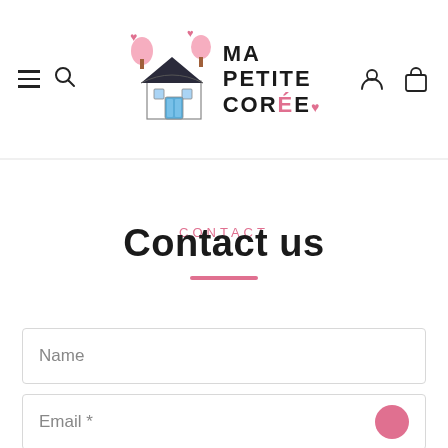Ma Petite Corée – site header with menu, search, logo, account and cart icons
CONTACT
Contact us
Name
Email *